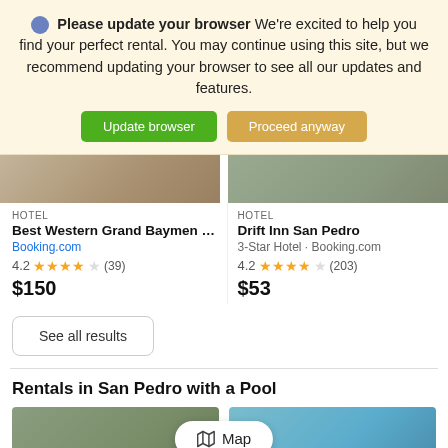Please update your browser We're excited to help you find your perfect rental. You may continue using this site, but we recommend updating your browser to see all our updates and features.
Update browser | Proceed anyway
[Figure (photo): Partial hotel listing images cropped at top]
HOTEL
Best Western Grand Baymen Garde...
Booking.com
4.2 ★★★★☆ (39)
$150
HOTEL
Drift Inn San Pedro
3-Star Hotel · Booking.com
4.2 ★★★★☆ (203)
$53
See all results
Rentals in San Pedro with a Pool
[Figure (photo): Two rental property photos at bottom]
Map